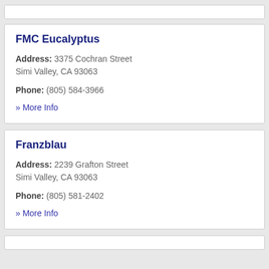FMC Eucalyptus
Address: 3375 Cochran Street Simi Valley, CA 93063
Phone: (805) 584-3966
» More Info
Franzblau
Address: 2239 Grafton Street Simi Valley, CA 93063
Phone: (805) 581-2402
» More Info